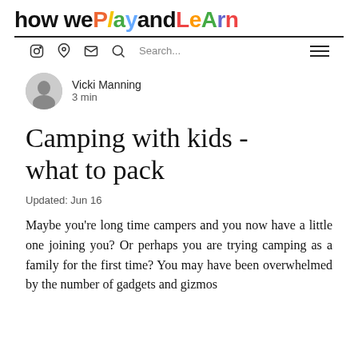how we Play and Learn
Vicki Manning
3 min
Camping with kids - what to pack
Updated: Jun 16
Maybe you're long time campers and you now have a little one joining you? Or perhaps you are trying camping as a family for the first time? You may have been overwhelmed by the number of gadgets and gizmos